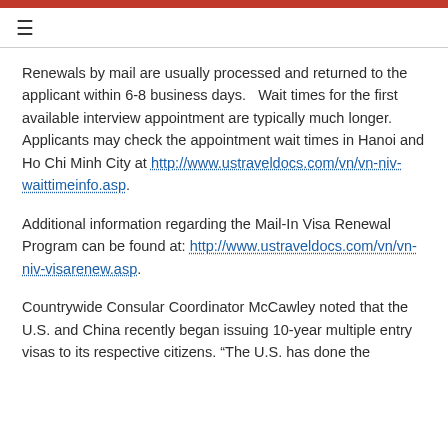≡
Renewals by mail are usually processed and returned to the applicant within 6-8 business days.   Wait times for the first available interview appointment are typically much longer. Applicants may check the appointment wait times in Hanoi and Ho Chi Minh City at http://www.ustraveldocs.com/vn/vn-niv-waittimeinfo.asp.
Additional information regarding the Mail-In Visa Renewal Program can be found at: http://www.ustraveldocs.com/vn/vn-niv-visarenew.asp.
Countrywide Consular Coordinator McCawley noted that the U.S. and China recently began issuing 10-year multiple entry visas to its respective citizens. "The U.S. has done the